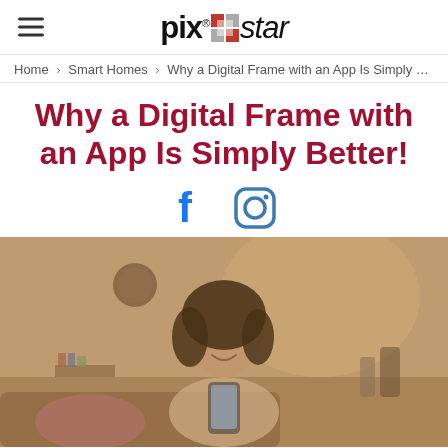pix star logo with hamburger menu
Home › Smart Homes › Why a Digital Frame with an App Is Simply Better!
Why a Digital Frame with an App Is Simply Better!
[Figure (infographic): Facebook and Instagram social share icons in blue]
[Figure (photo): Woman smiling and looking at a smartphone in a warm-lit living room setting]